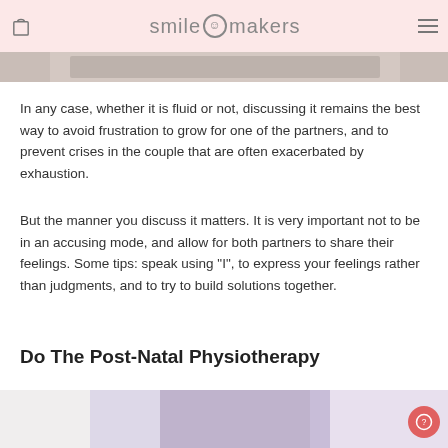smile makers
[Figure (photo): Partial top image strip showing a blurred background scene]
In any case, whether it is fluid or not, discussing it remains the best way to avoid frustration to grow for one of the partners, and to prevent crises in the couple that are often exacerbated by exhaustion.
But the manner you discuss it matters. It is very important not to be in an accusing mode, and allow for both partners to share their feelings. Some tips: speak using "I", to express your feelings rather than judgments, and to try to build solutions together.
Do The Post-Natal Physiotherapy
[Figure (photo): Bottom partial photo of a person in lilac/lavender athletic wear, torso visible]